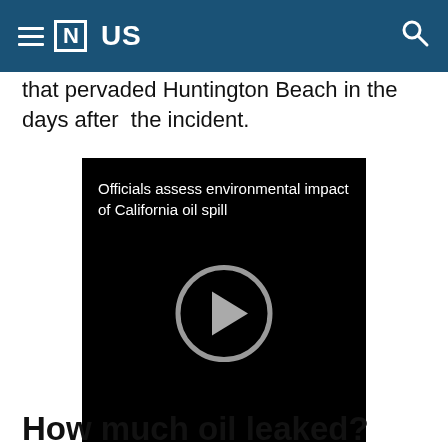≡ [N] US
that pervaded Huntington Beach in the days after the incident.
[Figure (screenshot): Video player with black background showing title 'Officials assess environmental impact of California oil spill' and a circular play button in the center]
How much oil leaked?